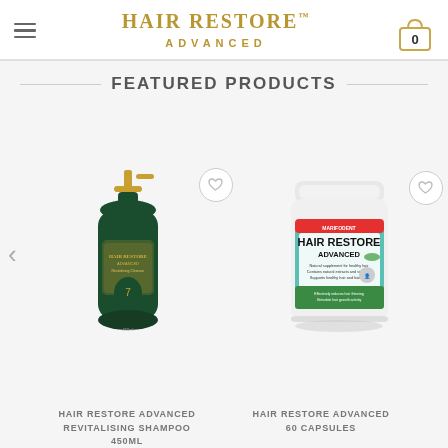HAIR RESTORE™ ADVANCED
FEATURED PRODUCTS
[Figure (illustration): Hair Restore Advanced Revitalising Shampoo 450ml bottle — dark green pump bottle with gold accent]
HAIR RESTORE ADVANCED REVITALISING SHAMPOO 450ML
[Figure (illustration): Hair Restore Advanced 60 Capsules — white plastic jar with green and red label showing Marifodent branding]
HAIR RESTORE ADVANCED 60 CAPSULES